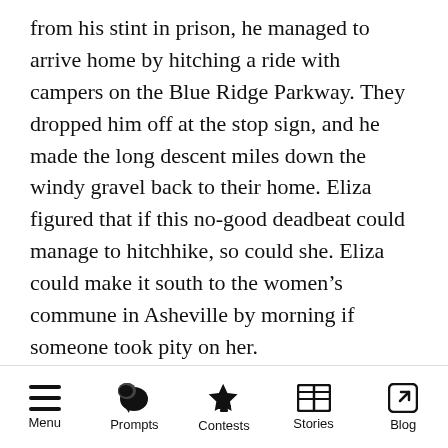from his stint in prison, he managed to arrive home by hitching a ride with campers on the Blue Ridge Parkway. They dropped him off at the stop sign, and he made the long descent miles down the windy gravel back to their home. Eliza figured that if this no-good deadbeat could manage to hitchhike, so could she. Eliza could make it south to the women's commune in Asheville by morning if someone took pity on her.
Eliza found out about the commune the day her dad stood trial there in federal court. She knew what the outcome would be, and she did not
Menu | Prompts | Contests | Stories | Blog